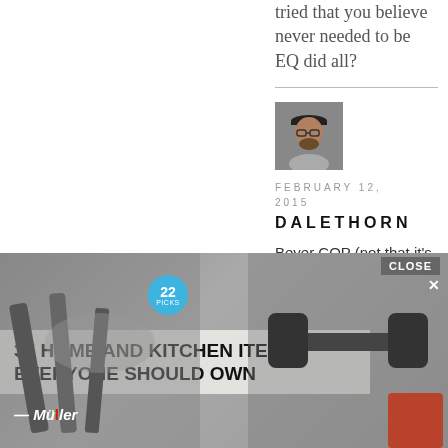tried that you believe never needed to be EQ did all?
[Figure (photo): Avatar photo of a man wearing a dark cap and glasses]
FEBRUARY 12, 2015
DALETHORN
Beyer COP (not that it's great, just t... isn't
[Figure (photo): Advertisement: 37 Home and Kitchen Items Everyone Should Own - Mueller brand kitchenware ad with a CLOSE button overlay]